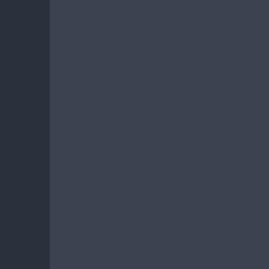An individual in San Martin might be using drugs to get through the day or if drug use is hard to stop. Drug addiction is a condition – a physical or dual condition, depending on how. Additionally, several patients in San Martin, mental health professionals in San Martin, deal with undiagnosed mental health issues, exacerbating a possible addiction problem by their genetic mark-up and their social...
What Does Recovery Involve?
Some drugs are phased out of the system slowly to avoid withdrawal symptoms. In some cases, people in San Martin. Alcohol is a prime example of this, in which sometimes a substitute drug are addicted to so that the individuals can be safe because alcohol withdrawal syndrome can cause seiz...
When the detoxification process is complete there is then a process that will take him or her one step further away from the substance of his or her choice.
What Types of Programs Are There?
Generally, there are several types of programs available in the area and most of them involve a comprehensive drug or alcohol treatment. Depending on the severity of the addiction, a counselor may pick a particular group-therapy approach to treatment. In more extreme cases, the individual may choose a residential program which will then remove all temptations...
However, many people in San Martin who are in treatment at this time includes a cognitive behavioral therapy approach tailored to the individuals particular needs.
The Advantages of Outpatient Rehab...
Rehabilitation is rather exhausting and can be very difficult. Attending a San Martin, California...